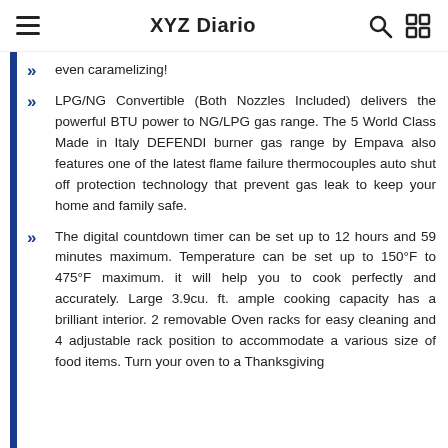XYZ Diario
even caramelizing!
LPG/NG Convertible (Both Nozzles Included) delivers the powerful BTU power to NG/LPG gas range. The 5 World Class Made in Italy DEFENDI burner gas range by Empava also features one of the latest flame failure thermocouples auto shut off protection technology that prevent gas leak to keep your home and family safe.
The digital countdown timer can be set up to 12 hours and 59 minutes maximum. Temperature can be set up to 150°F to 475°F maximum. it will help you to cook perfectly and accurately. Large 3.9cu. ft. ample cooking capacity has a brilliant interior. 2 removable Oven racks for easy cleaning and 4 adjustable rack position to accommodate a various size of food items. Turn your oven to a Thanksgiving